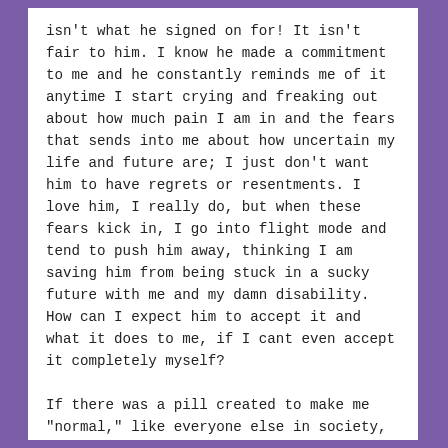isn't what he signed on for! It isn't fair to him. I know he made a commitment to me and he constantly reminds me of it anytime I start crying and freaking out about how much pain I am in and the fears that sends into me about how uncertain my life and future are; I just don't want him to have regrets or resentments. I love him, I really do, but when these fears kick in, I go into flight mode and tend to push him away, thinking I am saving him from being stuck in a sucky future with me and my damn disability. How can I expect him to accept it and what it does to me, if I cant even accept it completely myself?

If there was a pill created to make me "normal," like everyone else in society, I